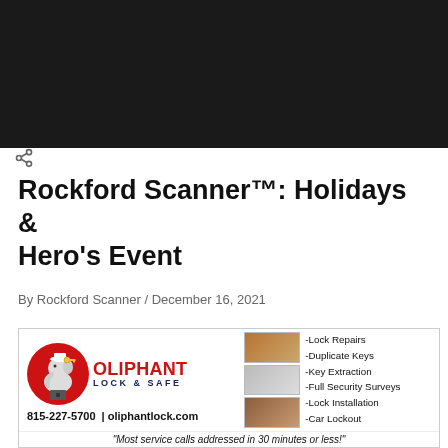[Figure (other): Dark/black top banner area of a webpage screenshot]
[Figure (other): Share icon (less-than symbol style share button)]
Rockford Scanner™: Holidays & Hero's Event
By Rockford Scanner / December 16, 2021
[Figure (other): Oliphant Lock & Safe advertisement banner. Shows elephant mascot logo with red circle, OLIPHANT in red text, LOCK & SAFE in navy blue. Phone: 815-227-5700 | oliphantlock.com. Services listed: -Lock Repairs, -Duplicate Keys, -Key Extraction, -Full Security Surveys, -Lock Installation, -Car Lockout. Tagline: Most service calls addressed in 30 minutes or less!]